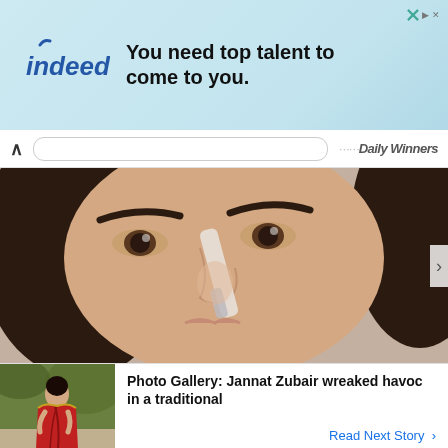[Figure (screenshot): Indeed advertisement banner with teal/mint background. Indeed logo on left, text 'You need top talent to come to you.' in bold black. Close button top right.]
BuzzDaily Winners
[Figure (photo): Close-up photo of a woman applying makeup with a brush to her nose area. She has dark hair, defined eyebrows and eyes.]
[Figure (photo): Thumbnail image of a woman wearing a traditional red Indian outfit (saree/salwar kameez) standing outdoors.]
Photo Gallery: Jannat Zubair wreaked havoc in a traditional
Read Next Story >